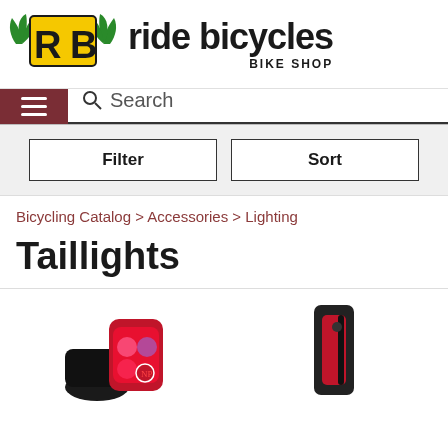[Figure (logo): Ride Bicycles Bike Shop logo with RB emblem and wings in yellow and green, beside bold text 'ride bicycles' and subtitle 'BIKE SHOP']
Search
Filter
Sort
Bicycling Catalog > Accessories > Lighting
Taillights
[Figure (photo): Taillight product photo left - red taillight with black mount clamp attached to seat post]
[Figure (photo): Taillight product photo right - slim red and black rectangular taillight]